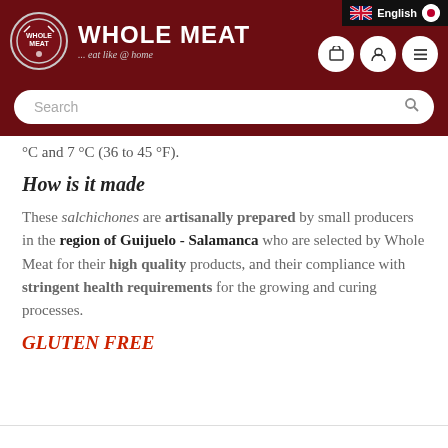WHOLE MEAT — eat like @ home
°C and 7 °C (36 to 45 °F).
How is it made
These salchichones are artisanally prepared by small producers in the region of Guijuelo - Salamanca who are selected by Whole Meat for their high quality products, and their compliance with stringent health requirements for the growing and curing processes.
GLUTEN FREE